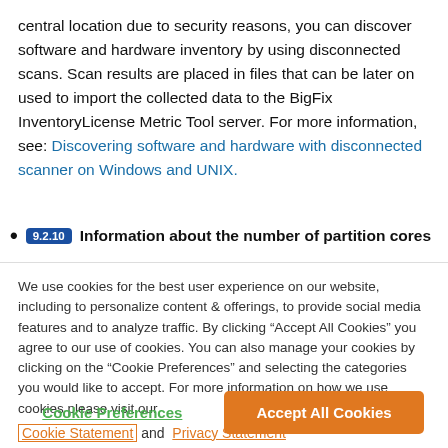central location due to security reasons, you can discover software and hardware inventory by using disconnected scans. Scan results are placed in files that can be later on used to import the collected data to the BigFix InventoryLicense Metric Tool server. For more information, see: Discovering software and hardware with disconnected scanner on Windows and UNIX.
9.2.10  Information about the number of partition cores
We use cookies for the best user experience on our website, including to personalize content & offerings, to provide social media features and to analyze traffic. By clicking “Accept All Cookies” you agree to our use of cookies. You can also manage your cookies by clicking on the “Cookie Preferences” and selecting the categories you would like to accept. For more information on how we use cookies please visit our Cookie Statement and Privacy Statement